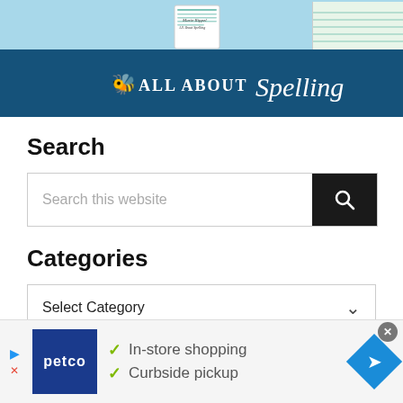[Figure (screenshot): All About Spelling website banner with logo on dark blue background, books visible at top]
Search
Search this website
Categories
Select Category
[Figure (screenshot): Petco advertisement banner with In-store shopping and Curbside pickup text with checkmarks]